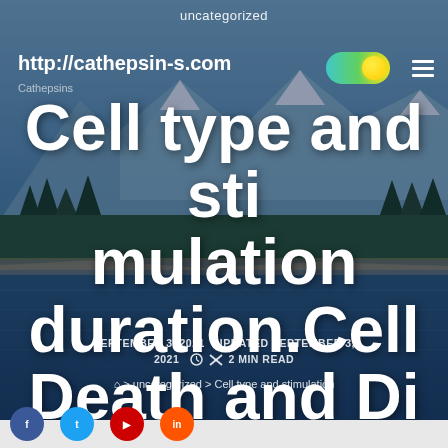uncategorized
http://cathepsin-s.com
Cell type and stimulation duration.Cell Death and DiseaseGlycolysis regulates the Tavapadon supplier autophagy and apoptosis
SEPTEMBER 3, 2021   UPDATED SEPTEMBER 3, 2021   2 MIN READ
⌂ > uncategorized > Cell type and stimulation